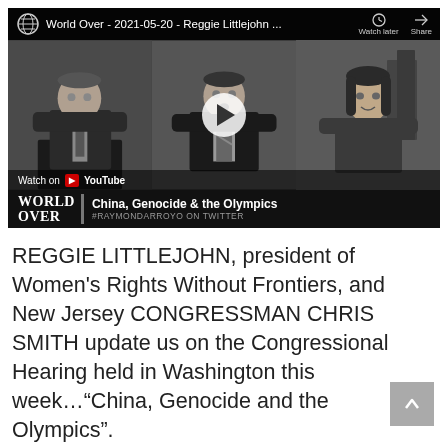[Figure (screenshot): YouTube video thumbnail showing 'World Over - 2021-05-20 - Reggie Littlejohn ...' with three people (two men and a woman) in panels, a play button in the center panel, and a lower bar reading 'China, Genocide & the Olympics' with the World Over logo. A 'Watch on YouTube' bar is visible at the bottom.]
REGGIE LITTLEJOHN, president of Women's Rights Without Frontiers, and New Jersey CONGRESSMAN CHRIS SMITH update us on the Congressional Hearing held in Washington this week…“China, Genocide and the Olympics”.